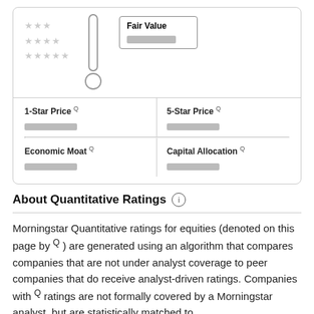[Figure (infographic): Star rating scale with thermometer and Fair Value box. Three rows of stars (3, 4, 5 stars) shown in gray, a thermometer diagram in the center, and a 'Fair Value' label box with redacted value on the right.]
| 1-Star Price Q | 5-Star Price Q | Economic Moat Q | Capital Allocation Q |
| --- | --- | --- | --- |
| [redacted] | [redacted] | [redacted] | [redacted] |
About Quantitative Ratings ⓘ
Morningstar Quantitative ratings for equities (denoted on this page by Q) are generated using an algorithm that compares companies that are not under analyst coverage to peer companies that do receive analyst-driven ratings. Companies with Q ratings are not formally covered by a Morningstar analyst, but are statistically matched to